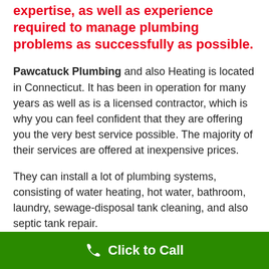expertise, as well as experience required to manage plumbing problems as successfully as possible.
Pawcatuck Plumbing and also Heating is located in Connecticut. It has been in operation for many years as well as is a licensed contractor, which is why you can feel confident that they are offering you the very best service possible. The majority of their services are offered at inexpensive prices.
They can install a lot of plumbing systems, consisting of water heating, hot water, bathroom, laundry, sewage-disposal tank cleaning, and also septic tank repair.
They have actually provided professional plumbing as
Click to Call